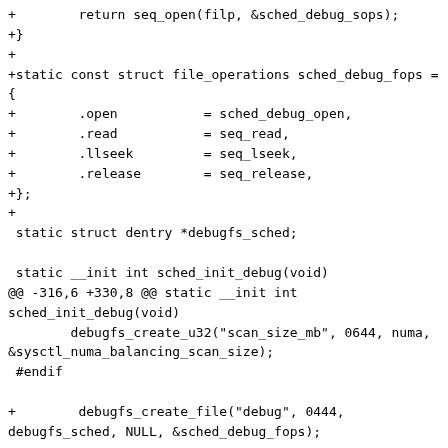+        return seq_open(filp, &sched_debug_sops);
+}
+
+static const struct file_operations sched_debug_fops =
{
+        .open           = sched_debug_open,
+        .read           = seq_read,
+        .llseek         = seq_lseek,
+        .release        = seq_release,
+};
+
 static struct dentry *debugfs_sched;

 static __init int sched_init_debug(void)
@@ -316,6 +330,8 @@ static __init int
sched_init_debug(void)
        debugfs_create_u32("scan_size_mb", 0644, numa,
&sysctl_numa_balancing_scan_size);
 #endif

+        debugfs_create_file("debug", 0444,
debugfs_sched, NULL, &sched_debug_fops);
+
        return 0;
 }
 late_initcall(sched_init_debug);
@@ -854,15 +870,6 @@ static const struct seq_operations
sched
        .show           = sched_debug_show,
 };